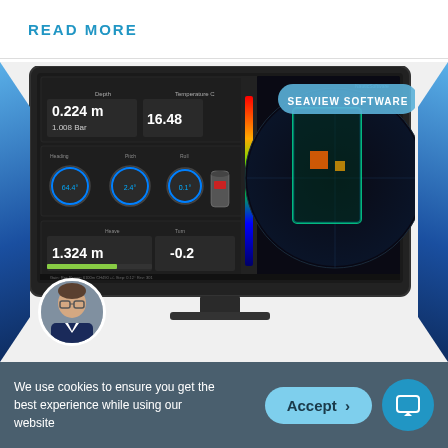READ MORE
[Figure (screenshot): A computer monitor displaying Seaview Software interface. The screen shows a dark-themed UI with sonar/acoustic data panels on the left showing readings: 0.224 m, 1.008 Bar, 16.48, 1.324 m, -0.2. On the right is a circular sonar display showing a colored heatmap of an underwater structure. A label 'SEAVIEW SOFTWARE' appears in a rounded rectangle overlay. The monitor sits on a stand against a blue geometric background. A person's headshot appears at the bottom left corner.]
We use cookies to ensure you get the best experience while using our website
Accept >